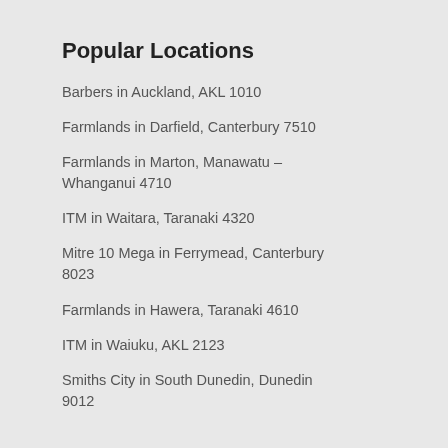Popular Locations
Barbers in Auckland, AKL 1010
Farmlands in Darfield, Canterbury 7510
Farmlands in Marton, Manawatu – Whanganui 4710
ITM in Waitara, Taranaki 4320
Mitre 10 Mega in Ferrymead, Canterbury 8023
Farmlands in Hawera, Taranaki 4610
ITM in Waiuku, AKL 2123
Smiths City in South Dunedin, Dunedin 9012